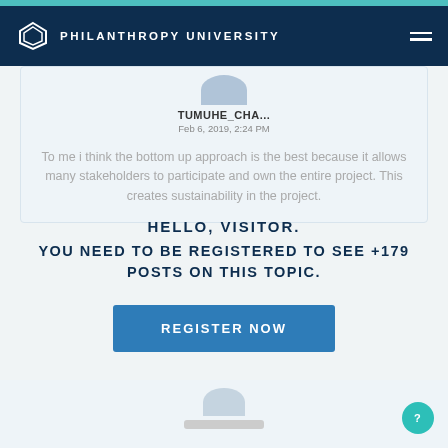PHILANTHROPY UNIVERSITY
TUMUHE_CHA...
Feb 6, 2019, 2:24 PM
To me i think the bottom up approach is the best because it allows many stakeholders to participate and own the entire project. This creates sustainability in the project.
HELLO, VISITOR.
YOU NEED TO BE REGISTERED TO SEE +179 POSTS ON THIS TOPIC.
REGISTER NOW